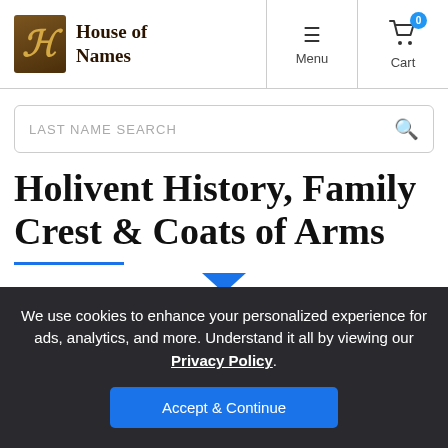House of Names — Menu | Cart (0)
LAST NAME SEARCH
Holivent History, Family Crest & Coats of Arms
We use cookies to enhance your personalized experience for ads, analytics, and more. Understand it all by viewing our Privacy Policy.
Accept & Continue